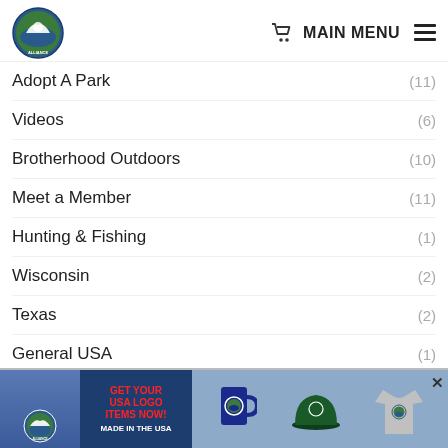Union Sportsmen's Alliance — MAIN MENU
Adopt A Park (11)
Videos (6)
Brotherhood Outdoors (10)
Meet a Member (11)
Hunting & Fishing (1)
Wisconsin (2)
Texas (2)
General USA (1)
Wyoming (1)
Alaska (1)
[Figure (infographic): Banner advertisement: GET YOUR USA LOGO ITEMS NOW! MADE IN THE USA — showing mug, hat, and shirt with Union Sportsmen's Alliance logo]